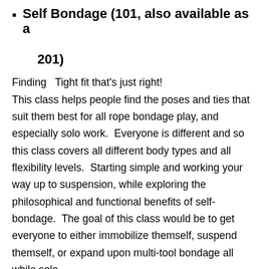Self Bondage (101, also available as a 201)
Finding  Tight fit that's just right!
This class helps people find the poses and ties that suit them best for all rope bondage play, and especially solo work.  Everyone is different and so this class covers all different body types and all flexibility levels.  Starting simple and working your way up to suspension, while exploring the philosophical and functional benefits of self-bondage.  The goal of this class would be to get everyone to either immobilize themself, suspend themself, or expand upon multi-tool bondage all while solo.
This class is also good to build bottom/sub concentration and endurance, and for tops/Doms who want to